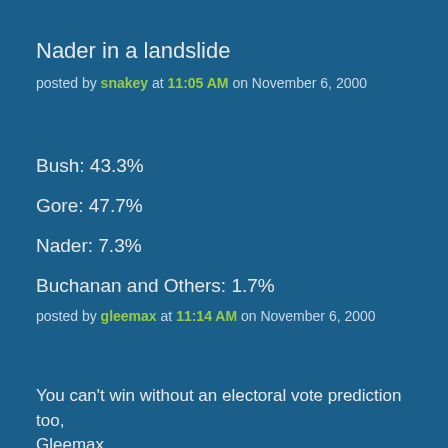Nader in a landslide
posted by snakey at 11:05 AM on November 6, 2000
Bush: 43.3%
Gore: 47.7%
Nader: 7.3%
Buchanan and Others: 1.7%
posted by gleemax at 11:14 AM on November 6, 2000
You can't win without an electoral vote prediction too, Gleemax.